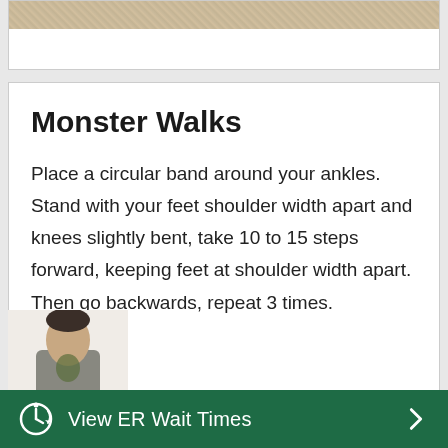[Figure (photo): Partial top card showing a textured beige/tan woven fabric background]
Monster Walks
Place a circular band around your ankles. Stand with your feet shoulder width apart and knees slightly bent, take 10 to 15 steps forward, keeping feet at shoulder width apart. Then go backwards, repeat 3 times.
[Figure (photo): Partial photo of a person in a grey t-shirt, visible from chest up]
View ER Wait Times